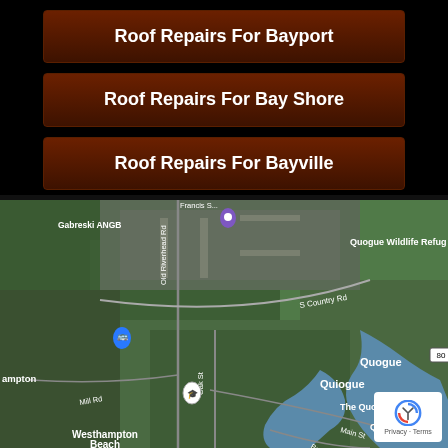Roof Repairs For Bayport
Roof Repairs For Bay Shore
Roof Repairs For Bayville
[Figure (map): Satellite aerial map showing the Quogue, Quiogue, Westhampton Beach area on Long Island, NY. Visible labels include Gabreski ANGB, Quogue Wildlife Refuge, S Country Rd, Old Riverhead Rd, Oak St, Mill Rd, Main St, Beach Ln, Quiogue, Quogue, The Quogue Club, Quogue Village, Westhampton Beach, Hampton. Road markers include route 80.]